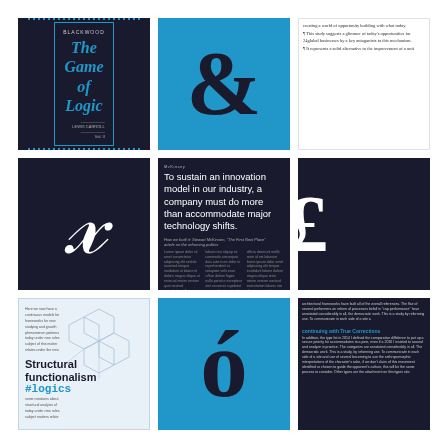[Figure (illustration): Dark navy blue book cover with 'The Game of Logic' in cyan italic serif font, with dotted cyan border decoration]
[Figure (illustration): Bright blue background with large black ampersand symbol in bold serif font]
[Figure (illustration): White background with small dense grey text in two column layout]
[Figure (illustration): Dark background with large white italic cursive letter x in serif font]
[Figure (illustration): Dark background with large white article text: 'To sustain an innovation model in our industry, a company must do more than accommodate major technology shifts.' with body text below in three columns]
[Figure (illustration): Dark background with large white pound or currency symbol partially cropped at right edge]
[Figure (illustration): Light blue/grey blueprint-style background with hexagon shapes, text 'Structural functionalism #logics' in bold black and cyan, with small grey body text]
[Figure (illustration): Bright blue background with large black accented letter o with acute accent (ó) in bold serif font]
[Figure (illustration): Dark background with very small dense grey/cyan body text and a subheading in cyan]